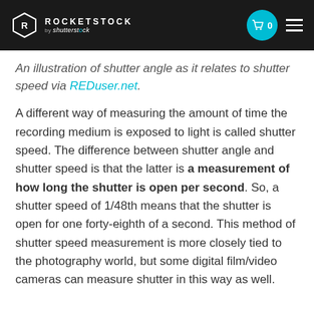ROCKETSTOCK by shutterstock
An illustration of shutter angle as it relates to shutter speed via REDuser.net.
A different way of measuring the amount of time the recording medium is exposed to light is called shutter speed. The difference between shutter angle and shutter speed is that the latter is a measurement of how long the shutter is open per second. So, a shutter speed of 1/48th means that the shutter is open for one forty-eighth of a second. This method of shutter speed measurement is more closely tied to the photography world, but some digital film/video cameras can measure shutter in this way as well.